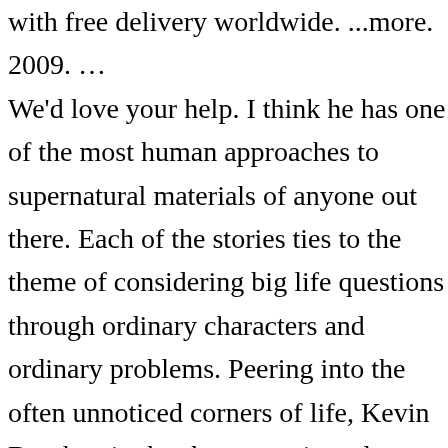with free delivery worldwide. ...more. 2009. … We'd love your help. I think he has one of the most human approaches to supernatural materials of anyone out there. Each of the stories ties to the theme of considering big life questions through ordinary characters and ordinary problems. Peering into the often unnoticed corners of life, Kevin Brockmeier has been consistently praised for the originality of his vision, the boundlessness of his imagination and the command of his craft. I loved this collection of short stories. Several of the